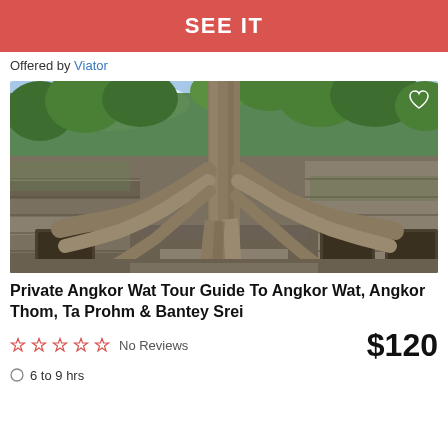SEE IT
Offered by Viator
[Figure (photo): Ancient Angkor Wat temple ruins overgrown with large tree roots climbing the stone walls, with lush green trees in the background and blue sky]
Private Angkor Wat Tour Guide To Angkor Wat, Angkor Thom, Ta Prohm & Bantey Srei
☆☆☆☆☆  No Reviews   $120
○ 6 to 9 hrs